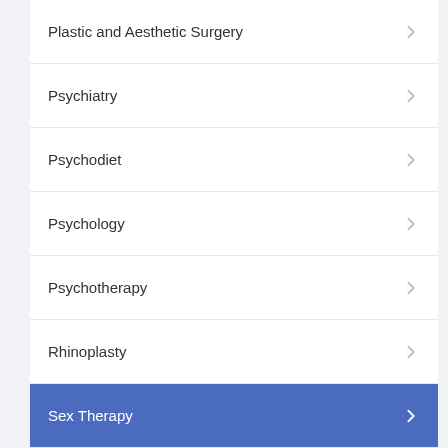Plastic and Aesthetic Surgery
Psychiatry
Psychodiet
Psychology
Psychotherapy
Rhinoplasty
Sex Therapy
Sports Nutrition